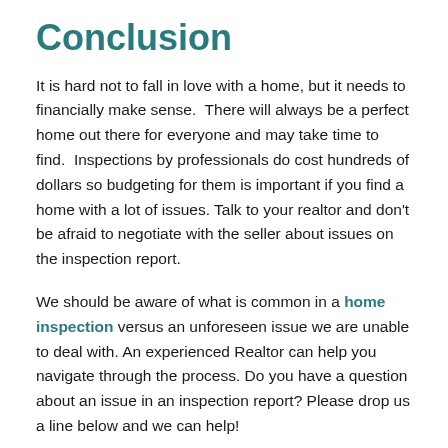Conclusion
It is hard not to fall in love with a home, but it needs to financially make sense.  There will always be a perfect home out there for everyone and may take time to find.  Inspections by professionals do cost hundreds of dollars so budgeting for them is important if you find a home with a lot of issues. Talk to your realtor and don't be afraid to negotiate with the seller about issues on the inspection report.
We should be aware of what is common in a home inspection versus an unforeseen issue we are unable to deal with. An experienced Realtor can help you navigate through the process. Do you have a question about an issue in an inspection report? Please drop us a line below and we can help!